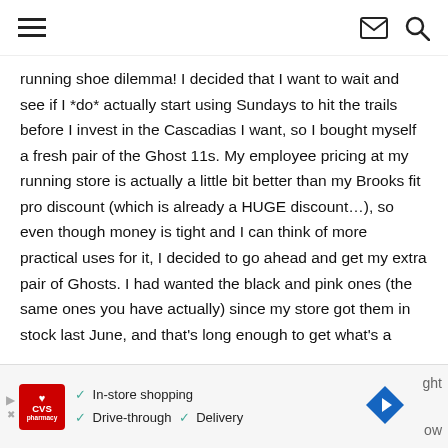Navigation header with hamburger menu, mail icon, and search icon
running shoe dilemma! I decided that I want to wait and see if I *do* actually start using Sundays to hit the trails before I invest in the Cascadias I want, so I bought myself a fresh pair of the Ghost 11s. My employee pricing at my running store is actually a little bit better than my Brooks fit pro discount (which is already a HUGE discount…), so even though money is tight and I can think of more practical uses for it, I decided to go ahead and get my extra pair of Ghosts. I had wanted the black and pink ones (the same ones you have actually) since my store got them in stock last June, and that's long enough to get what's a
[Figure (other): CVS Pharmacy advertisement banner showing in-store shopping, drive-through, and delivery options with a navigation arrow icon]